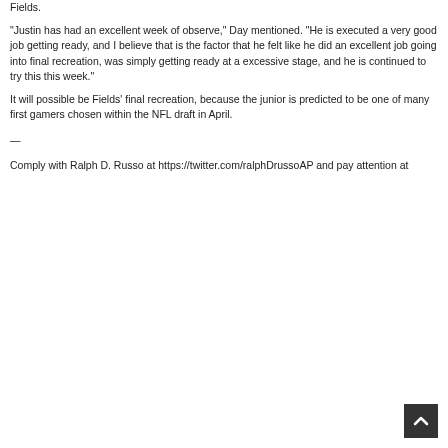Fields.
"Justin has had an excellent week of observe," Day mentioned. "He is executed a very good job getting ready, and I believe that is the factor that he felt like he did an excellent job going into final recreation, was simply getting ready at a excessive stage, and he is continued to try this this week."
It will possible be Fields' final recreation, because the junior is predicted to be one of many first gamers chosen within the NFL draft in April.
—
Comply with Ralph D. Russo at https://twitter.com/ralphDrussoAP and pay attention at